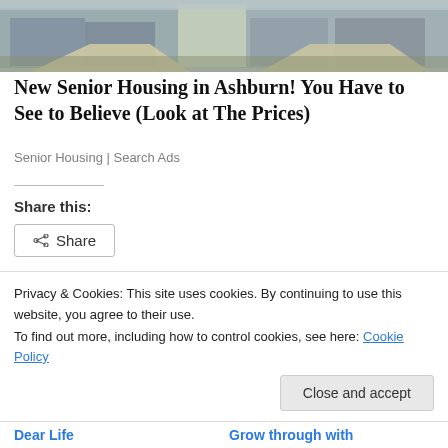[Figure (photo): Photo of suburban houses with driveways and garages, outdoor scene]
New Senior Housing in Ashburn! You Have to See to Believe (Look at The Prices)
Senior Housing | Search Ads
Share this:
Share
[Figure (other): Like button and row of user avatar thumbnails]
Privacy & Cookies: This site uses cookies. By continuing to use this website, you agree to their use.
To find out more, including how to control cookies, see here: Cookie Policy
Close and accept
Dear Life
Grow through with